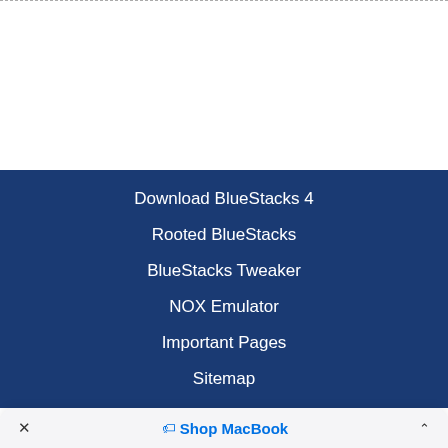[Figure (logo): DMCA Protected badge with green DMCA label and black PROTECTED label]
Download BlueStacks 4
Rooted BlueStacks
BlueStacks Tweaker
NOX Emulator
Important Pages
Sitemap
× 🏷 Shop MacBook ^